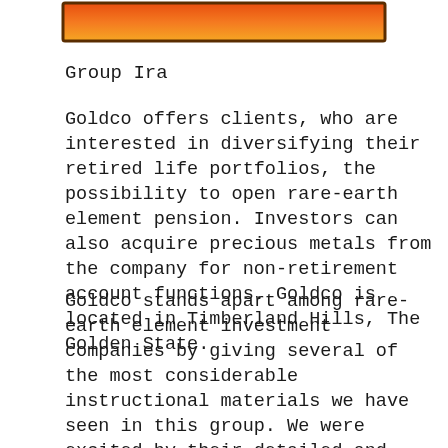[Figure (illustration): Gradient banner with orange to yellow gradient, rectangular shape with dark border]
Group Ira
Goldco offers clients, who are interested in diversifying their retired life portfolios, the possibility to open rare-earth element pension. Investors can also acquire precious metals from the company for non-retirement account functions. Goldco is located in Timberland Hills, The Golden State.
Goldco stands apart among rare-earth element investment companies by giving several of the most considerable instructional materials we have seen in this group. We were excited by their detailed and well-organized discussion of the benefits of